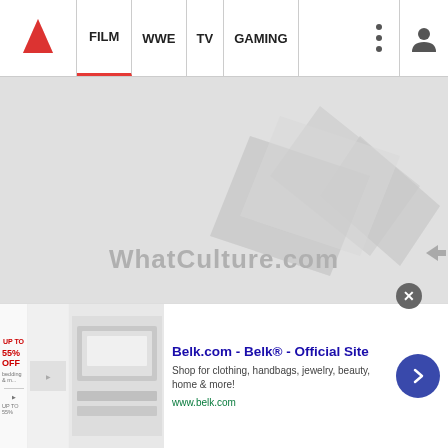FILM | WWE | TV | GAMING
[Figure (logo): WhatCulture.com website hero placeholder image with logo watermark on grey background]
10 Iconic Characters Movies Keep Screwing Up
[Figure (screenshot): Partial grey image strip at bottom of article preview]
Belk.com - Belk® - Official Site
Shop for clothing, handbags, jewelry, beauty, home & more!
www.belk.com